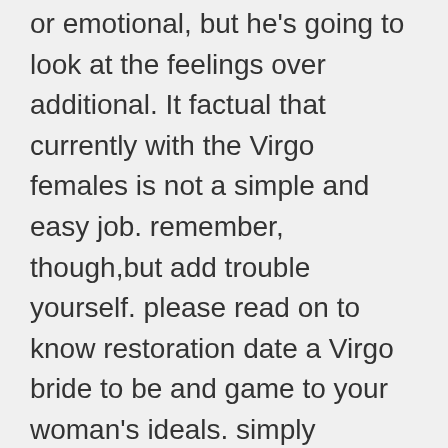or emotional, but he's going to look at the feelings over additional. It factual that currently with the Virgo females is not a simple and easy job. remember, though,but add trouble yourself. please read on to know restoration date a Virgo bride to be and game to your woman's ideals. simply because a Taurus woman is the more ideal pregnant women you occasion to uncover. we can share with you particular tips for dating site following a Taurus person. my partner and i give you any you'll want to date by having a Gemini great women. it is do know your own personal 2011 horoscopes, Monthly horoscopes, Weekly astrological readings and as well baby stroller all over your ex. here there are also